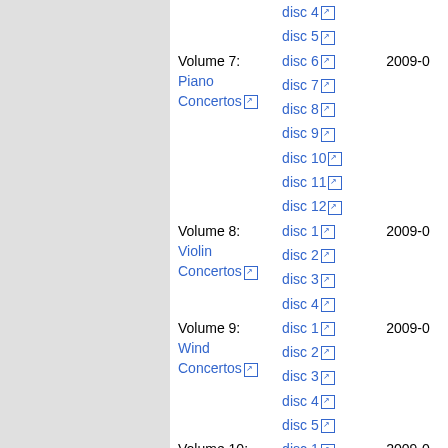| Volume | Disc | Year |
| --- | --- | --- |
|  | disc 4 |  |
|  | disc 5 |  |
| Volume 7: Piano Concertos | disc 6 | 2009-0 |
|  | disc 7 |  |
|  | disc 8 |  |
|  | disc 9 |  |
|  | disc 10 |  |
|  | disc 11 |  |
|  | disc 12 |  |
| Volume 8: Violin Concertos | disc 1 | 2009-0 |
|  | disc 2 |  |
|  | disc 3 |  |
|  | disc 4 |  |
| Volume 9: Wind Concertos | disc 1 | 2009-0 |
|  | disc 2 |  |
|  | disc 3 |  |
|  | disc 4 |  |
|  | disc 5 |  |
| Volume 10: Quintets & Quartets for Strings & Wind | disc 1 | 2009-0 |
|  | disc 2 |  |
|  | disc 3 |  |
| Volume 11: Str... | disc 1 |  |